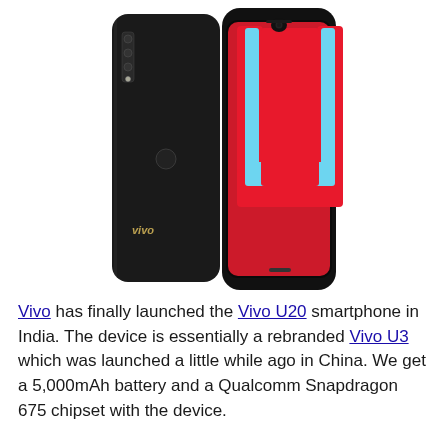[Figure (photo): A Vivo smartphone shown from both back and front simultaneously. The back is glossy black with a vertical triple-camera module on the upper left and a fingerprint sensor. The front displays a red background with a large cyan/light-blue U-shaped design on the screen, with a small waterdrop notch at the top. The Vivo logo appears in gold on the lower portion of the back.]
Vivo has finally launched the Vivo U20 smartphone in India. The device is essentially a rebranded Vivo U3 which was launched a little while ago in China. We get a 5,000mAh battery and a Qualcomm Snapdragon 675 chipset with the device.